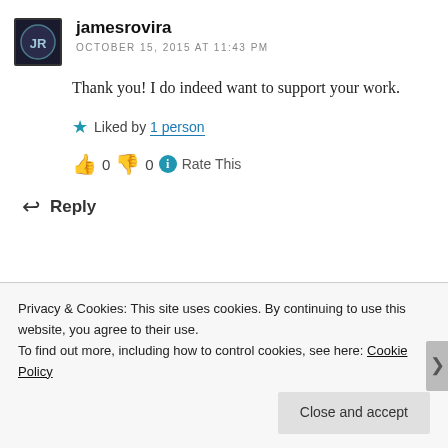jamesrovira
OCTOBER 15, 2015 AT 11:43 PM
Thank you! I do indeed want to support your work.
Liked by 1 person
👍 0 👎 0 ℹ Rate This
↩ Reply
Privacy & Cookies: This site uses cookies. By continuing to use this website, you agree to their use.
To find out more, including how to control cookies, see here: Cookie Policy
Close and accept